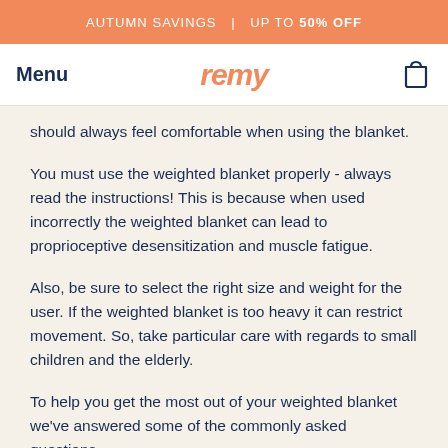AUTUMN SAVINGS | UP TO 50% OFF
Menu | remy | [cart icon]
should always feel comfortable when using the blanket.
You must use the weighted blanket properly - always read the instructions! This is because when used incorrectly the weighted blanket can lead to proprioceptive desensitization and muscle fatigue.
Also, be sure to select the right size and weight for the user. If the weighted blanket is too heavy it can restrict movement. So, take particular care with regards to small children and the elderly.
To help you get the most out of your weighted blanket we've answered some of the commonly asked questions.